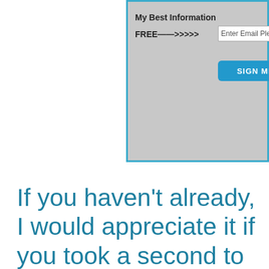[Figure (screenshot): Email signup widget with gray background and blue border. Contains title 'My Best Information', text 'FREE——>>>>>',  an email input field labeled 'Enter Email Please!', and a blue 'SIGN ME UP' button.]
If you haven't already, I would appreciate it if you took a second to leave a quick rating and review of the podcast on